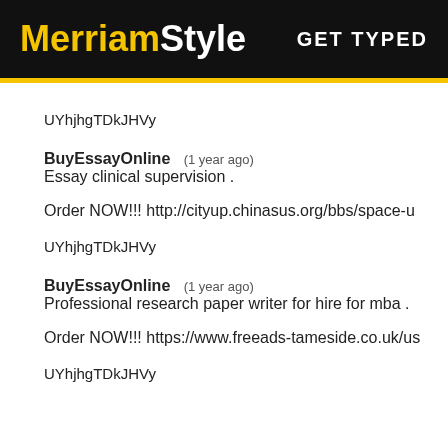MerriamStyle   GET TYPED
UYhjhgTDkJHVy
BuyEssayOnline   (1 year ago)
Essay clinical supervision .
Order NOW!!! http://cityup.chinasus.org/bbs/space-u
UYhjhgTDkJHVy
BuyEssayOnline   (1 year ago)
Professional research paper writer for hire for mba .
Order NOW!!! https://www.freeads-tameside.co.uk/us
UYhjhgTDkJHVy